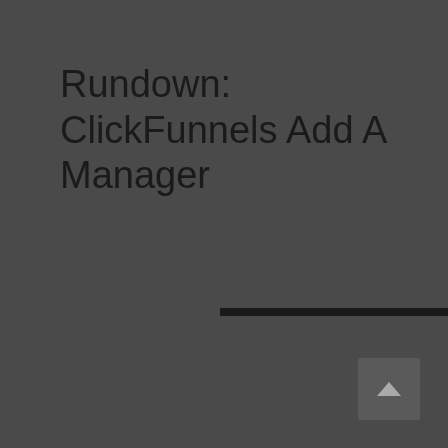Rundown: ClickFunnels Add A Manager
[Figure (other): Horizontal dark divider line]
[Figure (other): Back to top button with upward arrow icon]